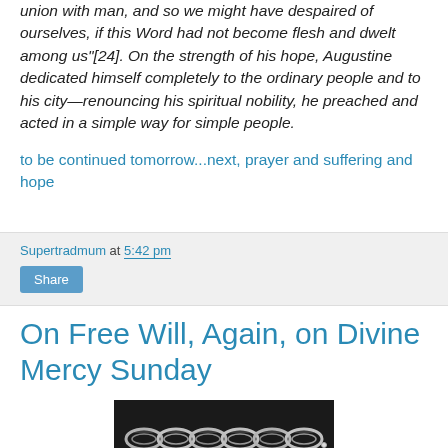union with man, and so we might have despaired of ourselves, if this Word had not become flesh and dwelt among us"[24]. On the strength of his hope, Augustine dedicated himself completely to the ordinary people and to his city—renouncing his spiritual nobility, he preached and acted in a simple way for simple people.
to be continued tomorrow...next, prayer and suffering and hope
Supertradmum at 5:42 pm
Share
On Free Will, Again, on Divine Mercy Sunday
[Figure (photo): Close-up photograph of silver chain or jewelry links against dark background]